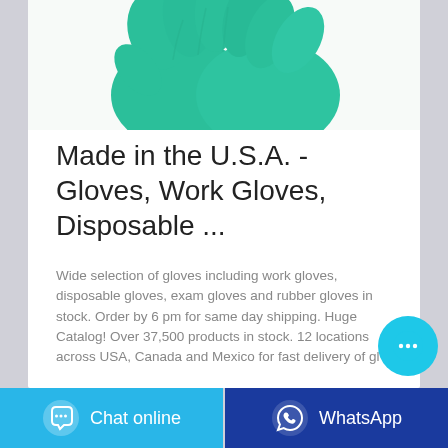[Figure (photo): Pair of teal/green rubber gloves photographed against white background, fingers intertwined, cropped at top of page]
Made in the U.S.A. - Gloves, Work Gloves, Disposable ...
Wide selection of gloves including work gloves, disposable gloves, exam gloves and rubber gloves in stock. Order by 6 pm for same day shipping. Huge Catalog! Over 37,500 products in stock. 12 locations across USA, Canada and Mexico for fast delivery of gl
[Figure (other): Cyan circular chat button with three dots (ellipsis) icon]
Chat online   WhatsApp